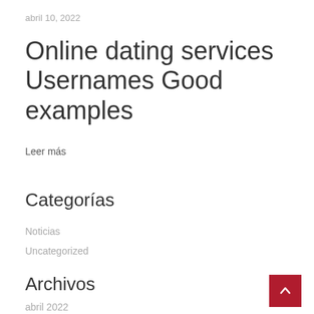abril 10, 2022
Online dating services Usernames Good examples
Leer más
Categorías
Noticias
Uncategorized
Archivos
abril 2022